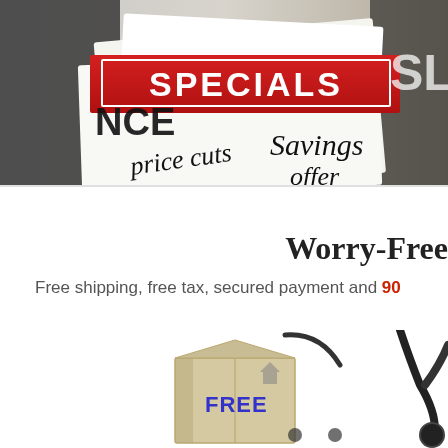[Figure (photo): Collage of promotional sale paper signs with text: SPECIALS (on red banner), price cuts, Savings, offer — overlapping newspaper/advertisement clippings]
Worry-Free
Free shipping, free tax, secured payment and 90
[Figure (photo): A cardboard box labeled FREE with a shopping cart handle, representing free shipping icon; and partially visible stethoscope on the right]